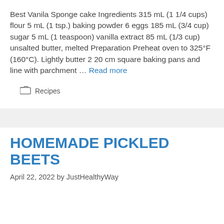Best Vanila Sponge cake Ingredients 315 mL (1 1/4 cups) flour 5 mL (1 tsp.) baking powder 6 eggs 185 mL (3/4 cup) sugar 5 mL (1 teaspoon) vanilla extract 85 mL (1/3 cup) unsalted butter, melted Preparation Preheat oven to 325°F (160°C). Lightly butter 2 20 cm square baking pans and line with parchment … Read more
Recipes
HOMEMADE PICKLED BEETS
April 22, 2022 by JustHealthyWay